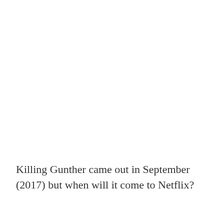Killing Gunther came out in September (2017) but when will it come to Netflix?